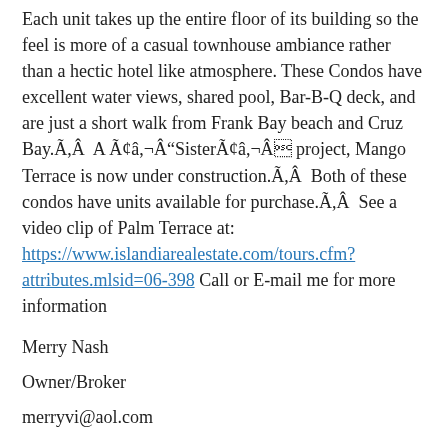Each unit takes up the entire floor of its building so the feel is more of a casual townhouse ambiance rather than a hectic hotel like atmosphere. These Condos have excellent water views, shared pool, Bar-B-Q deck, and are just a short walk from Frank Bay beach and Cruz Bay.Ã,Â  A Ã¢â,¬Â"SisterÃ¢â,¬Â project, Mango Terrace is now under construction.Ã,Â  Both of these condos have units available for purchase.Ã,Â  See a video clip of Palm Terrace at: https://www.islandiarealestate.com/tours.cfm?attributes.mlsid=06-398 Call or E-mail me for more information
Merry Nash
Owner/Broker
merryvi@aol.com